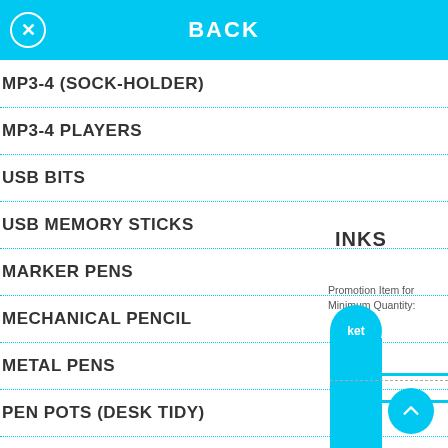BACK
MP3-4 (SOCK-HOLDER)
MP3-4 PLAYERS
USB BITS
USB MEMORY STICKS
MARKER PENS
MECHANICAL PENCIL
METAL PENS
PEN POTS (DESK TIDY)
INKS
Promotion Item for Minimum Quantity:
ket